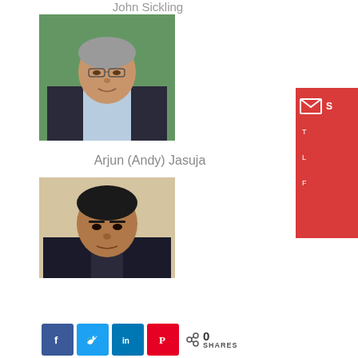John Sickling
[Figure (photo): Portrait photo of a middle-aged man with glasses wearing a dark suit and light blue shirt, with green foliage in background]
Arjun (Andy) Jasuja
[Figure (photo): Portrait photo of an older man with dark hair wearing a dark suit, against a light background]
[Figure (other): Red sidebar panel with email/share icons and partial text]
[Figure (infographic): Social share buttons: Facebook, Twitter, LinkedIn, Pinterest, and share count showing 0 SHARES]